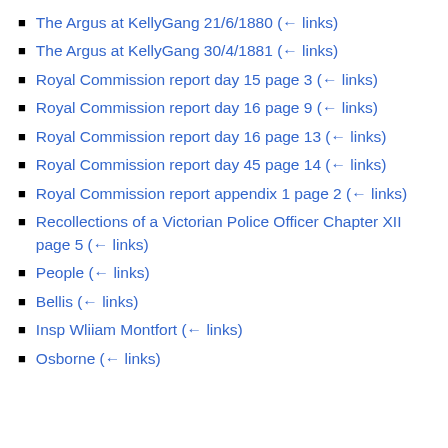The Argus at KellyGang 21/6/1880  (← links)
The Argus at KellyGang 30/4/1881  (← links)
Royal Commission report day 15 page 3  (← links)
Royal Commission report day 16 page 9  (← links)
Royal Commission report day 16 page 13  (← links)
Royal Commission report day 45 page 14  (← links)
Royal Commission report appendix 1 page 2  (← links)
Recollections of a Victorian Police Officer Chapter XII page 5  (← links)
People  (← links)
Bellis  (← links)
Insp Wliiam Montfort  (← links)
Osborne  (← links)